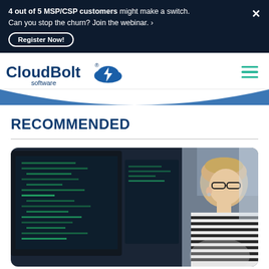4 out of 5 MSP/CSP customers might make a switch. Can you stop the churn? Join the webinar. › Register Now!
[Figure (logo): CloudBolt Software logo with cloud and lightning bolt icon in blue]
RECOMMENDED
[Figure (photo): A person with short blonde hair and glasses wearing a striped shirt, looking at multiple computer monitors displaying code]